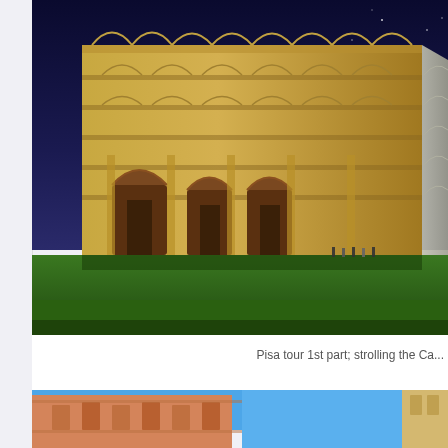[Figure (photo): Night photograph of the Pisa Cathedral (Duomo di Pisa) illuminated with warm golden light against a deep blue night sky, with green lawn in the foreground and small figures of tourists visible near the building.]
Pisa tour 1st part; strolling the Ca...
[Figure (photo): Partial view of Italian building facades with warm orange/terracotta tones and blue sky visible, appearing to show a street scene in an Italian city.]